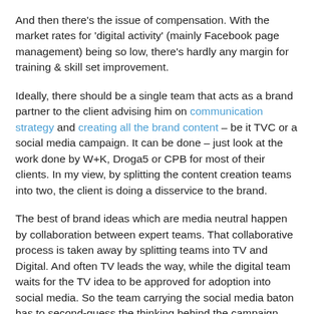And then there's the issue of compensation. With the market rates for 'digital activity' (mainly Facebook page management) being so low, there's hardly any margin for training & skill set improvement.
Ideally, there should be a single team that acts as a brand partner to the client advising him on communication strategy and creating all the brand content – be it TVC or a social media campaign. It can be done – just look at the work done by W+K, Droga5 or CPB for most of their clients. In my view, by splitting the content creation teams into two, the client is doing a disservice to the brand.
The best of brand ideas which are media neutral happen by collaboration between expert teams. That collaborative process is taken away by splitting teams into TV and Digital. And often TV leads the way, while the digital team waits for the TV idea to be approved for adoption into social media. So the team carrying the social media baton has to second-guess the thinking behind the campaign, the overall brand strategy or just hear all of it from someone else – not be a part of the creation.